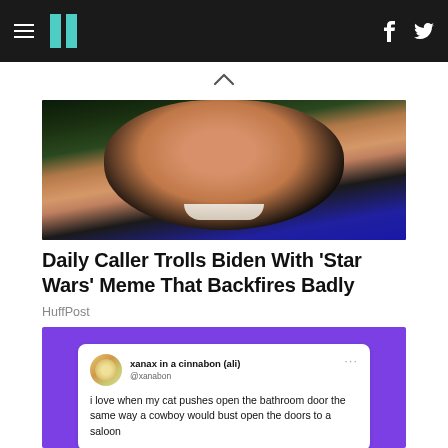HuffPost navigation header with hamburger menu, logo, Facebook and Twitter icons
[Figure (photo): Close-up photo of a smiling man wearing a dark suit jacket, photographed outdoors with dark background and blue element visible]
Daily Caller Trolls Biden With 'Star Wars' Meme That Backfires Badly
HuffPost
[Figure (screenshot): Screenshot of a tweet by xanax in a cinnabon (ali) @xanabon reading: i love when my cat pushes open the bathroom door the same way a cowboy would bust open the doors to a saloon, displayed on a purple background]